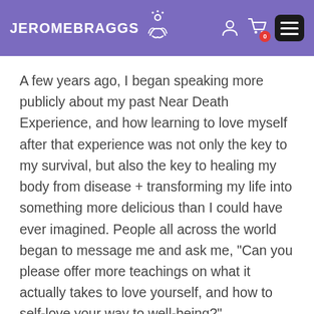JEROMEBRAGGS
A few years ago, I began speaking more publicly about my past Near Death Experience, and how learning to love myself after that experience was not only the key to my survival, but also the key to healing my body from disease + transforming my life into something more delicious than I could have ever imagined. People all across the world began to message me and ask me, “Can you please offer more teachings on what it actually takes to love yourself, and how to self-love your way to well-being?”
It became clear that the idea of self-love felt